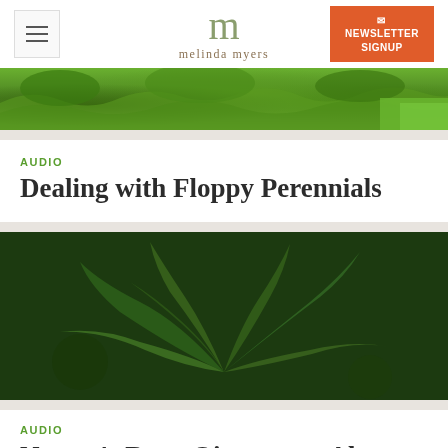melinda myers — navigation and newsletter signup header
[Figure (photo): Garden landscape photo showing green plants and grass]
AUDIO
Dealing with Floppy Perennials
[Figure (photo): Close-up photo of aloe vera succulent plants with spiky green leaves]
AUDIO
Nature's Burn Ointment – Aloe